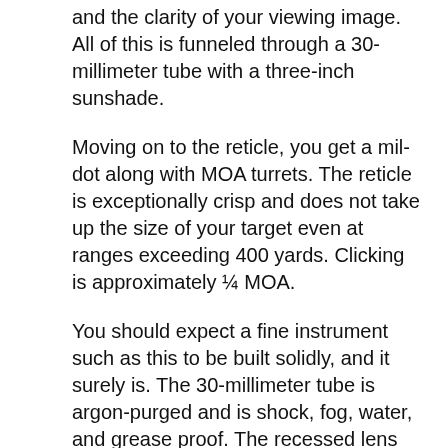and the clarity of your viewing image. All of this is funneled through a 30-millimeter tube with a three-inch sunshade.
Moving on to the reticle, you get a mil-dot along with MOA turrets. The reticle is exceptionally crisp and does not take up the size of your target even at ranges exceeding 400 yards. Clicking is approximately ¼ MOA.
You should expect a fine instrument such as this to be built solidly, and it surely is. The 30-millimeter tube is argon-purged and is shock, fog, water, and grease proof. The recessed lens resists dirt and debris.
At any rate, it is backed by a lifetime